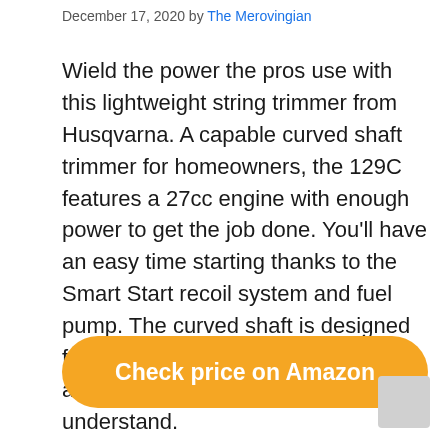December 17, 2020 by The Merovingian
Wield the power the pros use with this lightweight string trimmer from Husqvarna. A capable curved shaft trimmer for homeowners, the 129C features a 27cc engine with enough power to get the job done. You'll have an easy time starting thanks to the Smart Start recoil system and fuel pump. The curved shaft is designed for improved reach and ergonomics, and the controls are simple to understand.
Check price on Amazon